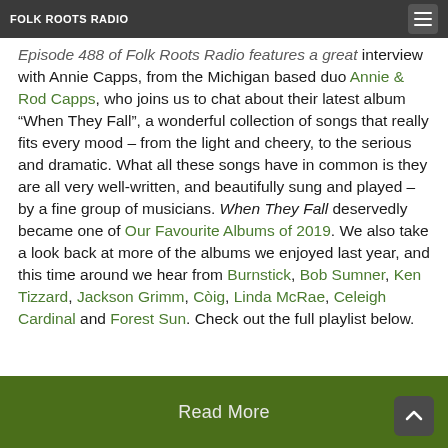FOLK ROOTS RADIO
Episode 488 of Folk Roots Radio features a great interview with Annie Capps, from the Michigan based duo Annie & Rod Capps, who joins us to chat about their latest album “When They Fall”, a wonderful collection of songs that really fits every mood – from the light and cheery, to the serious and dramatic. What all these songs have in common is they are all very well-written, and beautifully sung and played – by a fine group of musicians. When They Fall deservedly became one of Our Favourite Albums of 2019. We also take a look back at more of the albums we enjoyed last year, and this time around we hear from Burnstick, Bob Sumner, Ken Tizzard, Jackson Grimm, Còig, Linda McRae, Celeigh Cardinal and Forest Sun. Check out the full playlist below.
Read More